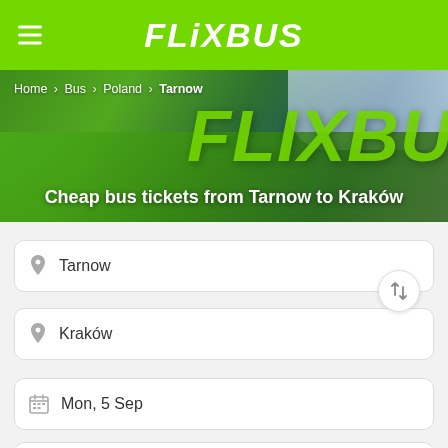FLiXBUS
[Figure (screenshot): Hero image showing a green FlixBus vehicle with breadcrumb navigation and page title overlay]
Home > Bus > Poland > Tarnow
Cheap bus tickets from Tarnow to Kraków
Tarnow
Kraków
Mon, 5 Sep
,